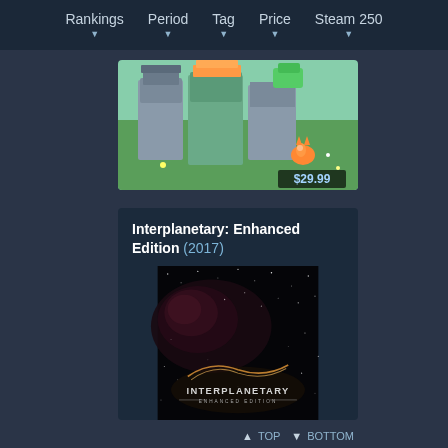Rankings  Period  Tag  Price  Steam 250
[Figure (screenshot): Colorful isometric game screenshot showing castle/fortress structures with cartoon-like graphics and a fox character, with $29.99 price tag overlay]
Interplanetary: Enhanced Edition (2017)
[Figure (screenshot): Dark space-themed game screenshot showing stars and nebula in background with Interplanetary Enhanced Edition logo at bottom]
▲ TOP  ▼ BOTTOM